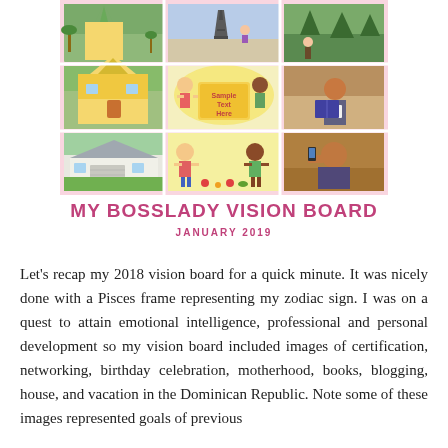[Figure (photo): Vision board collage with multiple photos: pineapple house, Eiffel Tower, hiking, house, cartoon children with 'Sample Text Here' sign, woman reading]
MY BOSSLADY VISION BOARD
JANUARY 2019
Let's recap my 2018 vision board for a quick minute. It was nicely done with a Pisces frame representing my zodiac sign. I was on a quest to attain emotional intelligence, professional and personal development so my vision board included images of certification, networking, birthday celebration, motherhood, books, blogging, house, and vacation in the Dominican Republic. Note some of these images represented goals of previous